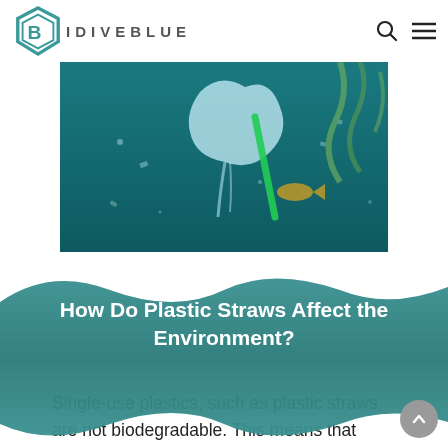IDIVEBLUE
[Figure (photo): Underwater photo showing plastic bag and green plastic straw floating in blue ocean water with marine debris]
How Do Plastic Straws Affect the Environment?
Single-use plastics, such as plastic straws, are not biodegradable. This means that instead of breaking down into